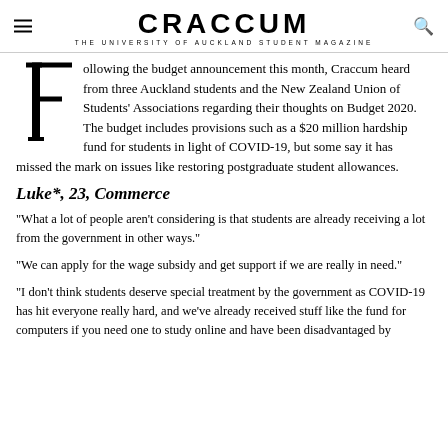CRACCUM — THE UNIVERSITY OF AUCKLAND STUDENT MAGAZINE
Following the budget announcement this month, Craccum heard from three Auckland students and the New Zealand Union of Students' Associations regarding their thoughts on Budget 2020. The budget includes provisions such as a $20 million hardship fund for students in light of COVID-19, but some say it has missed the mark on issues like restoring postgraduate student allowances.
Luke*, 23, Commerce
"What a lot of people aren't considering is that students are already receiving a lot from the government in other ways."
"We can apply for the wage subsidy and get support if we are really in need."
"I don't think students deserve special treatment by the government as COVID-19 has hit everyone really hard, and we've already received stuff like the fund for computers if you need one to study online and have been disadvantaged by